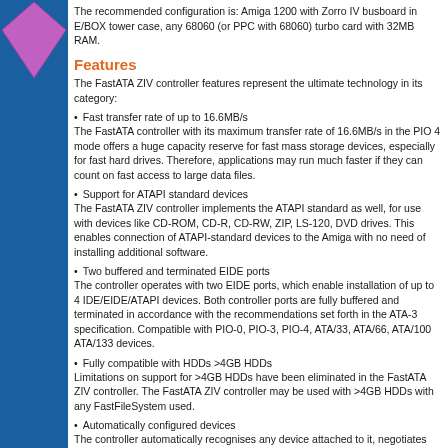The recommended configuration is: Amiga 1200 with Zorro IV busboard in E/BOX tower case, any 68060 (or PPC with 68060) turbo card with 32MB RAM.
Features
The FastATA ZIV controller features represent the ultimate technology in its category:
Fast transfer rate of up to 16.6MB/s
The FastATA controller with its maximum transfer rate of 16.6MB/s in the PIO 4 mode offers a huge capacity reserve for fast mass storage devices, especially for fast hard drives. Therefore, applications may run much faster if they can count on fast access to large data files.
Support for ATAPI standard devices
The FastATA ZIV controller implements the ATAPI standard as well, for use with devices like CD-ROM, CD-R, CD-RW, ZIP, LS-120, DVD drives. This enables connection of ATAPI-standard devices to the Amiga with no need of installing additional software.
Two buffered and terminated EIDE ports
The controller operates with two EIDE ports, which enable installation of up to 4 IDE/EIDE/ATAPI devices. Both controller ports are fully buffered and terminated in accordance with the recommendations set forth in the ATA-3 specification. Compatible with PIO-0, PIO-3, PIO-4, ATA/33, ATA/66, ATA/100 ATA/133 devices.
Fully compatible with HDDs >4GB HDDs
Limitations on support for >4GB HDDs have been eliminated in the FastATA ZIV controller. The FastATA ZIV controller may be used with >4GB HDDs with any FastFileSystem used.
Automatically configured devices
The controller automatically recognises any device attached to it, negotiates the highest possible data transfer rates, switches the device...